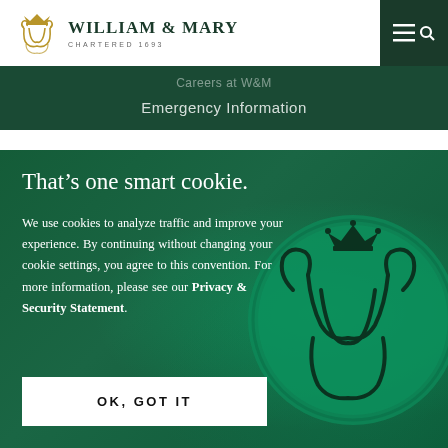[Figure (logo): William & Mary university logo with gold monogram and university name]
William & Mary | Chartered 1693
Careers at W&M
Emergency Information
That’s one smart cookie.
We use cookies to analyze traffic and improve your experience. By continuing without changing your cookie settings, you agree to this convention. For more information, please see our Privacy & Security Statement.
OK, GOT IT